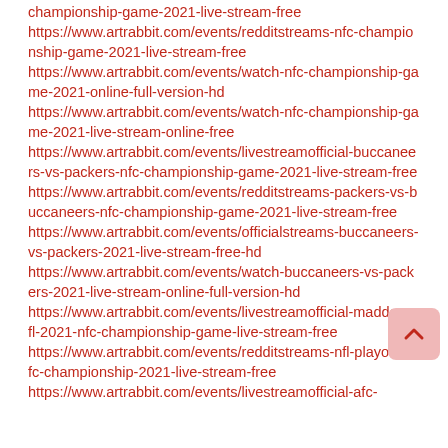championship-game-2021-live-stream-free
https://www.artrabbit.com/events/redditstreams-nfc-championship-game-2021-live-stream-free
https://www.artrabbit.com/events/watch-nfc-championship-game-2021-online-full-version-hd
https://www.artrabbit.com/events/watch-nfc-championship-game-2021-live-stream-online-free
https://www.artrabbit.com/events/livestreamofficial-buccaneers-vs-packers-nfc-championship-game-2021-live-stream-free
https://www.artrabbit.com/events/redditstreams-packers-vs-buccaneers-nfc-championship-game-2021-live-stream-free
https://www.artrabbit.com/events/officialstreams-buccaneers-vs-packers-2021-live-stream-free-hd
https://www.artrabbit.com/events/watch-buccaneers-vs-packers-2021-live-stream-online-full-version-hd
https://www.artrabbit.com/events/livestreamofficial-madden-nfl-2021-nfc-championship-game-live-stream-free
https://www.artrabbit.com/events/redditstreams-nfl-playoffs-nfc-championship-2021-live-stream-free
https://www.artrabbit.com/events/livestreamofficial-afc-